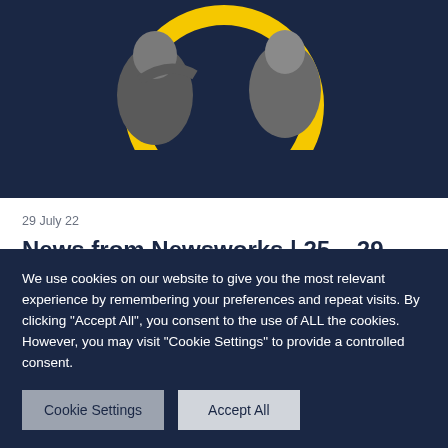[Figure (photo): Black and white photo of two people (man and woman) against a dark navy background with a yellow circle graphic element]
29 July 22
News from Newsworks | 25 – 29 July
On home turf, a widely tipped and hugely admired England team makes it through to the final at...
We use cookies on our website to give you the most relevant experience by remembering your preferences and repeat visits. By clicking "Accept All", you consent to the use of ALL the cookies. However, you may visit "Cookie Settings" to provide a controlled consent.